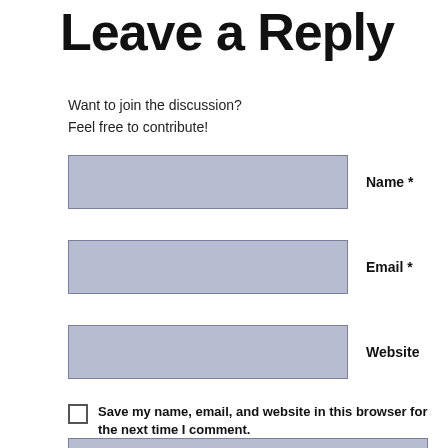Leave a Reply
Want to join the discussion?
Feel free to contribute!
Name *
Email *
Website
Save my name, email, and website in this browser for the next time I comment.